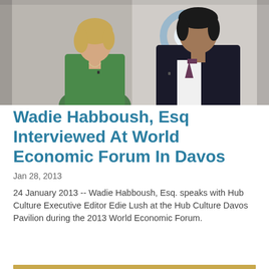[Figure (photo): Two people in conversation — a woman with short blonde hair wearing a green top on the left, and a man in a dark suit on the right, seated in front of a blurred background with a circular logo.]
Wadie Habboush, Esq Interviewed At World Economic Forum In Davos
Jan 28, 2013
24 January 2013 -- Wadie Habboush, Esq. speaks with Hub Culture Executive Editor Edie Lush at the Hub Culture Davos Pavilion during the 2013 World Economic Forum.